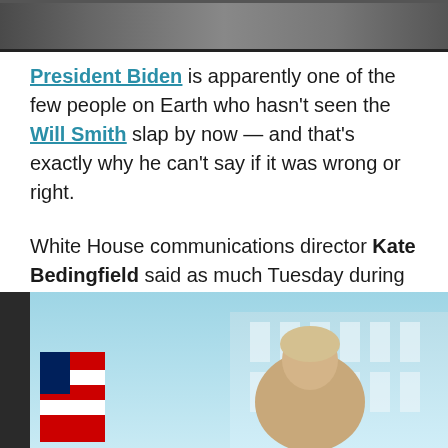[Figure (photo): Top portion of a photo showing people, partially cropped at the top of the page]
President Biden is apparently one of the few people on Earth who hasn't seen the Will Smith slap by now — and that's exactly why he can't say if it was wrong or right.
White House communications director Kate Bedingfield said as much Tuesday during a press briefing, when she was asked about the Oscars confrontation by reporter Simon Ateba of Todays News Africa — who asked if the White House condemns this violence?
[Figure (photo): Photo of a person (Kate Bedingfield) at a White House press briefing podium, with American flag and White House facade visible in background. Dark sidebar on left edge.]